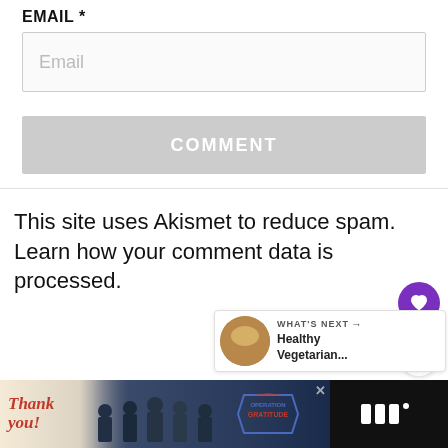EMAIL *
[Figure (screenshot): Email input field placeholder]
[Figure (screenshot): COMMENT button (gray)]
This site uses Akismet to reduce spam. Learn how your comment data is processed.
[Figure (screenshot): Purple heart like button]
[Figure (screenshot): White share button]
[Figure (screenshot): What's Next: Healthy Vegetarian... panel with circular thumbnail]
[Figure (screenshot): Advertisement bar at bottom: Operation Gratitude Thank You ad with close button and brand logo]